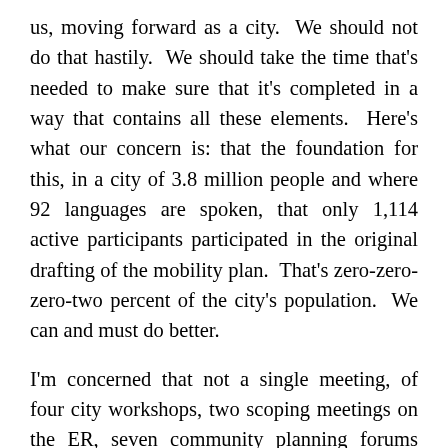us, moving forward as a city.  We should not do that hastily.  We should take the time that's needed to make sure that it's completed in a way that contains all these elements.  Here's what our concern is: that the foundation for this, in a city of 3.8 million people and where 92 languages are spoken, that only 1,114 active participants participated in the original drafting of the mobility plan.  That's zero-zero-zero-two percent of the city's population.  We can and must do better.
I'm concerned that not a single meeting, of four city workshops, two scoping meetings on the ER, seven community planning forums were in my district.  I have a district of Latinos and I'm talking about  Mexicans  and  Salvadorans  and